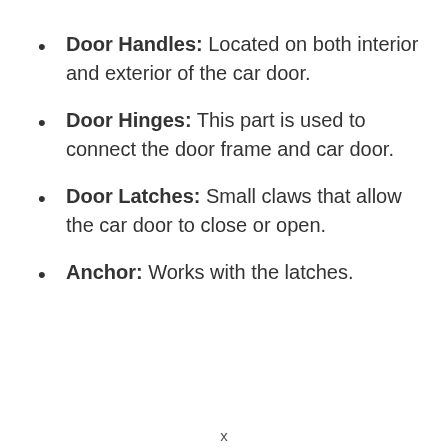Door Handles: Located on both interior and exterior of the car door.
Door Hinges: This part is used to connect the door frame and car door.
Door Latches: Small claws that allow the car door to close or open.
Anchor: Works with the latches.